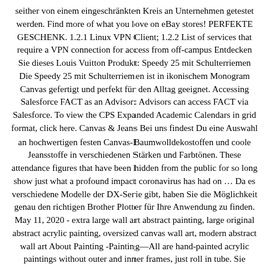seither von einem eingeschränkten Kreis an Unternehmen getestet werden. Find more of what you love on eBay stores! PERFEKTE GESCHENK. 1.2.1 Linux VPN Client; 1.2.2 List of services that require a VPN connection for access from off-campus Entdecken Sie dieses Louis Vuitton Produkt: Speedy 25 mit Schulterriemen Die Speedy 25 mit Schulterriemen ist in ikonischem Monogram Canvas gefertigt und perfekt für den Alltag geeignet. Accessing Salesforce FACT as an Advisor: Advisors can access FACT via Salesforce. To view the CPS Expanded Academic Calendars in grid format, click here. Canvas & Jeans Bei uns findest Du eine Auswahl an hochwertigen festen Canvas-Baumwolldekostoffen und coole Jeansstoffe in verschiedenen Stärken und Farbtönen. These attendance figures that have been hidden from the public for so long show just what a profound impact coronavirus has had on … Da es verschiedene Modelle der DX-Serie gibt, haben Sie die Möglichkeit genau den richtigen Brother Plotter für Ihre Anwendung zu finden. May 11, 2020 - extra large wall art abstract painting, large original abstract acrylic painting, oversized canvas wall art, modern abstract wall art About Painting -Painting—All are hand-painted acrylic paintings without outer and inner frames, just roll in tube. Sie können weiterhin Ihre alte Login-ID verwenden. Heute, 11:57. Ideate and collaborate on a freeform canvas designed for pen, touch, and keyboard. Dabei sollte darauf geachtet werden, dass eventuelle Farbangaben, zum Beispiel die Füll- oder Rahmenfarbe eines Rechtecks, den eigentlichen Zeichenfunktionen